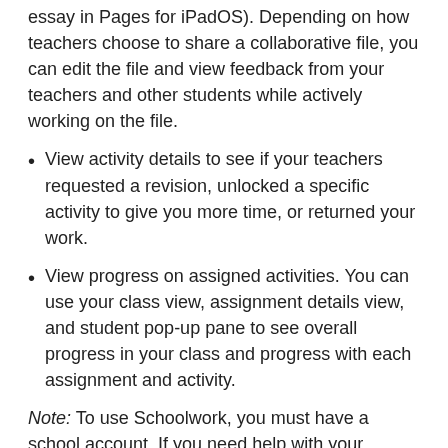essay in Pages for iPadOS). Depending on how teachers choose to share a collaborative file, you can edit the file and view feedback from your teachers and other students while actively working on the file.
View activity details to see if your teachers requested a revision, unlocked a specific activity to give you more time, or returned your work.
View progress on assigned activities. You can use your class view, assignment details view, and student pop-up pane to see overall progress in your class and progress with each assignment and activity.
Note: To use Schoolwork, you must have a school account. If you need help with your account, contact your teacher.